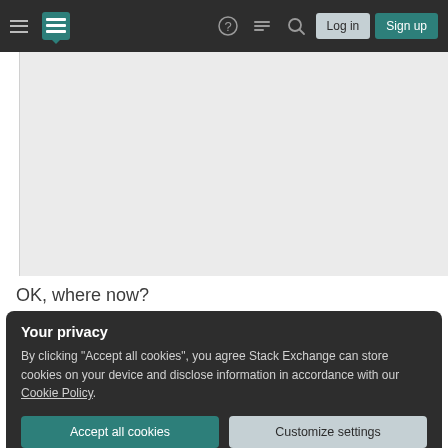Stack Exchange navigation bar with hamburger menu, logo, help icon, chat icon, search icon, Log in button, Sign up button
[Figure (screenshot): Gray content panel area showing a blank/empty Stack Exchange page content region with a thin left sidebar border]
OK, where now?
Your privacy
By clicking "Accept all cookies", you agree Stack Exchange can store cookies on your device and disclose information in accordance with our Cookie Policy.
Accept all cookies
Customize settings